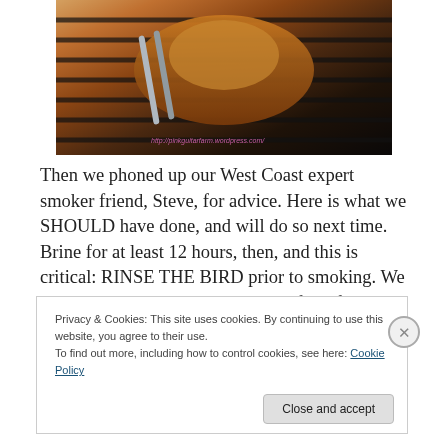[Figure (photo): A chicken being grilled on a barbecue grate, viewed from above, with tongs visible. Watermark text reads http://pinkguitarfarm.wordpress.com/]
Then we phoned up our West Coast expert smoker friend, Steve, for advice. Here is what we SHOULD have done, and will do so next time. Brine for at least 12 hours, then, and this is critical: RINSE THE BIRD prior to smoking. We only had our chickens in the brine for a few hours and did not rinse them, so, although we sacrificed full tender juiciness, we still got great flavor without too much salt.
Privacy & Cookies: This site uses cookies. By continuing to use this website, you agree to their use.
To find out more, including how to control cookies, see here: Cookie Policy
Close and accept